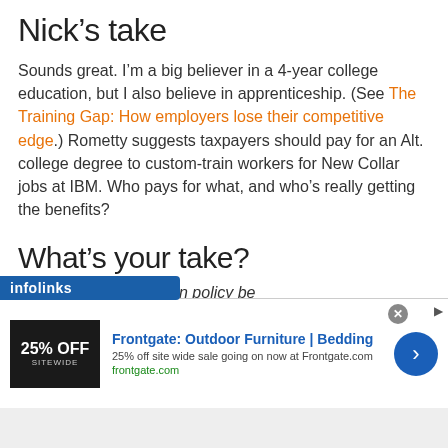Nick’s take
Sounds great. I’m a big believer in a 4-year college education, but I also believe in apprenticeship. (See The Training Gap: How employers lose their competitive edge.) Rometty suggests taxpayers should pay for an Alt. college degree to custom-train workers for New Collar jobs at IBM. Who pays for what, and who’s really getting the benefits?
What’s your take?
Should public education policy be
[Figure (other): Infolinks advertisement overlay bar at bottom left]
[Figure (other): Frontgate outdoor furniture advertisement banner with 25% off sitewide sale, frontgate.com]